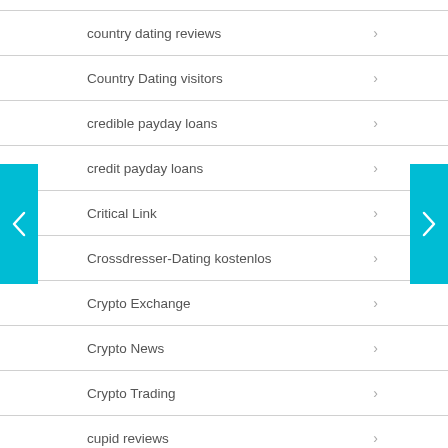country dating reviews
Country Dating visitors
credible payday loans
credit payday loans
Critical Link
Crossdresser-Dating kostenlos
Crypto Exchange
Crypto News
Crypto Trading
cupid reviews
curves connect gratis